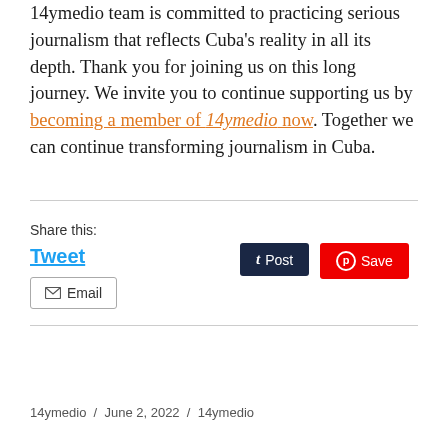14ymedio team is committed to practicing serious journalism that reflects Cuba's reality in all its depth. Thank you for joining us on this long journey. We invite you to continue supporting us by becoming a member of 14ymedio now. Together we can continue transforming journalism in Cuba.
Share this:
Tweet
Post
Save
Email
14ymedio / June 2, 2022 / 14ymedio